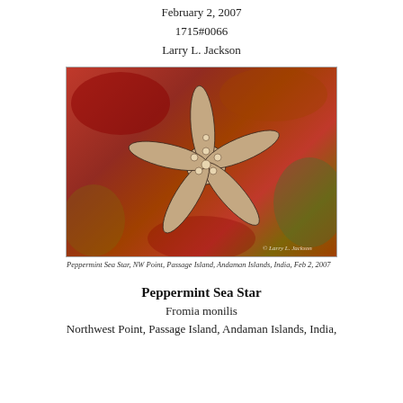February 2, 2007
1715#0066
Larry L. Jackson
[Figure (photo): Close-up underwater photo of a Peppermint Sea Star (Fromia monilis) on red coral/rock substrate at NW Point, Passage Island, Andaman Islands, India. The starfish is beige/cream with dark-edged scales and five arms visible against a vivid red background.]
Peppermint Sea Star, NW Point, Passage Island, Andaman Islands, India, Feb 2, 2007
Peppermint Sea Star
Fromia monilis
Northwest Point, Passage Island, Andaman Islands, India,